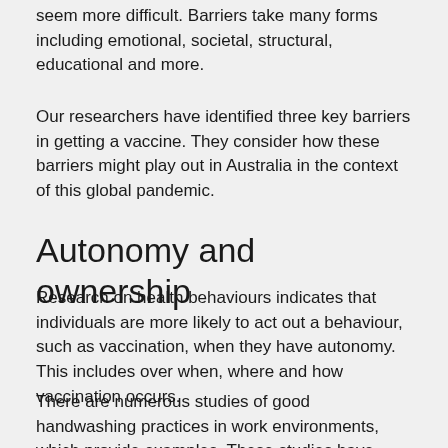seem more difficult. Barriers take many forms including emotional, societal, structural, educational and more.
Our researchers have identified three key barriers in getting a vaccine. They consider how these barriers might play out in Australia in the context of this global pandemic.
Autonomy and ownership
Research on health behaviours indicates that individuals are more likely to act out a behaviour, such as vaccination, when they have autonomy. This includes over when, where and how vaccination occurs.
There are numerous studies of good handwashing practices in work environments, which provide examples. These studies have shown that compliance improves when you give small teams autonomy. This